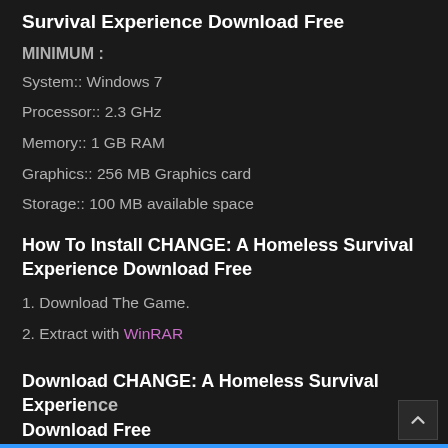Survival Experience Download Free
MINIMUM :
System:: Windows 7
Processor:: 2.3 GHz
Memory:: 1 GB RAM
Graphics:: 256 MB Graphics card
Storage:: 100 MB available space
How To Install CHANGE: A Homeless Survival Experience Download Free
1. Download The Game.
2. Extract with WinRAR
3. Play!.
Download CHANGE: A Homeless Survival Experience Download Free